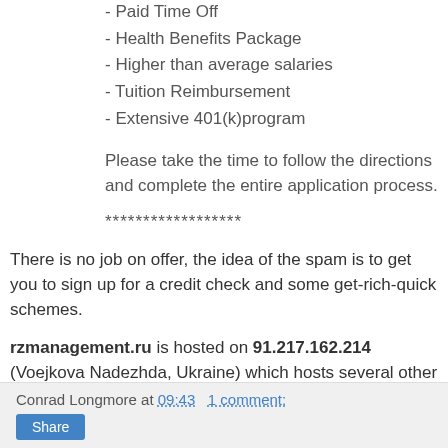- Paid Time Off
- Health Benefits Package
- Higher than average salaries
- Tuition Reimbursement
- Extensive 401(k)program
Please take the time to follow the directions and complete the entire application process.
******************
There is no job on offer, the idea of the spam is to get you to sign up for a credit check and some get-rich-quick schemes.
rzmanagement.ru is hosted on 91.217.162.214 (Voejkova Nadezhda, Ukraine) which hosts several other scam sites. You might want to consider blocking access to 91.217.162.0/24 if these are bothering you.
Conrad Longmore at 09:43   1 comment: